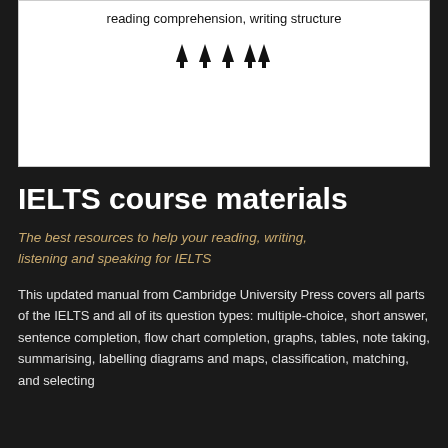reading comprehension, writing structure
[Figure (other): Four upward-pointing arrow icons]
IELTS course materials
The best resources to help your reading, writing, listening and speaking for IELTS
This updated manual from Cambridge University Press covers all parts of the IELTS and all of its question types: multiple-choice, short answer, sentence completion, flow chart completion, graphs, tables, note taking, summarising, labelling diagrams and maps, classification, matching, and selecting